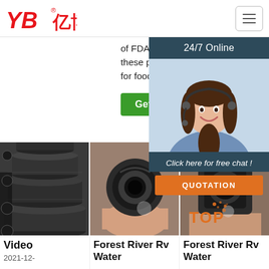[Figure (logo): YB亿博 logo in red with registered trademark symbol]
of FDA listed materials, these plugs are suitable for food contact.
for the construction indu...
24/7 Online
[Figure (photo): Customer service representative woman with headset smiling]
Get Price
Click here for free chat !
QUOTATION
[Figure (photo): Black rubber/PVC pipes stacked horizontally]
[Figure (photo): Hand holding a rubber hose cross-section showing inner diameter]
[Figure (photo): Hand holding a fitting/hose end]
Video
2021-12-
Forest River Rv Water
Forest River Rv Water